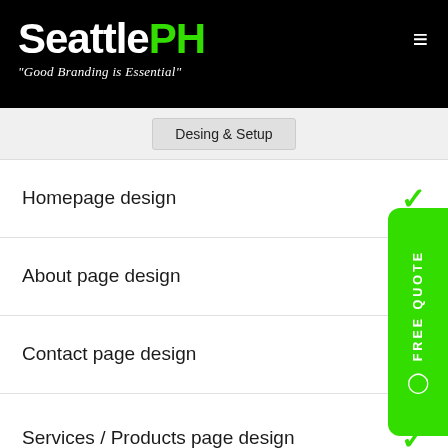SeattlePH
"Good Branding is Essential"
Desing & Setup
Homepage design
About page design
Contact page design
Services / Products page design
FREE QUOTE